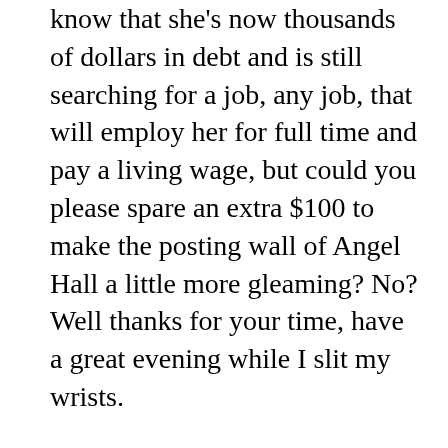know that she's now thousands of dollars in debt and is still searching for a job, any job, that will employ her for full time and pay a living wage, but could you please spare an extra $100 to make the posting wall of Angel Hall a little more gleaming? No? Well thanks for your time, have a great evening while I slit my wrists.

Working the phones also made me aware of how many strings are attached to private donations. After hearing countless wealthy alumni refuse to donate on account of our